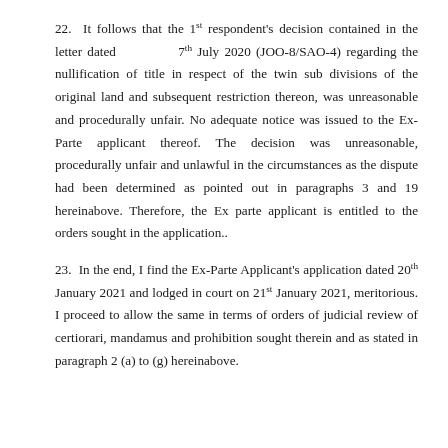22. It follows that the 1st respondent's decision contained in the letter dated 7th July 2020 (JOO-8/SAO-4) regarding the nullification of title in respect of the twin sub divisions of the original land and subsequent restriction thereon, was unreasonable and procedurally unfair. No adequate notice was issued to the Ex-Parte applicant thereof. The decision was unreasonable, procedurally unfair and unlawful in the circumstances as the dispute had been determined as pointed out in paragraphs 3 and 19 hereinabove. Therefore, the Ex parte applicant is entitled to the orders sought in the application..
23. In the end, I find the Ex-Parte Applicant's application dated 20th January 2021 and lodged in court on 21st January 2021, meritorious. I proceed to allow the same in terms of orders of judicial review of certiorari, mandamus and prohibition sought therein and as stated in paragraph 2 (a) to (g) hereinabove.
24. It is so ordered.